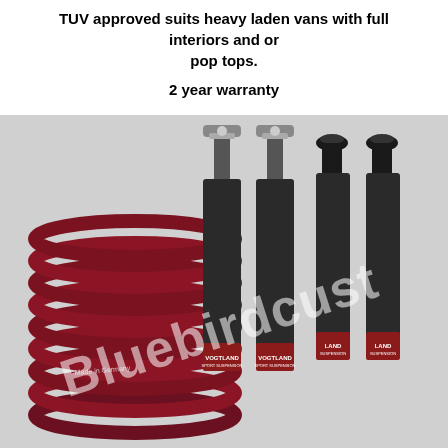TUV approved suits heavy laden vans with full interiors and or pop tops.
2 year warranty
[Figure (photo): Product photo showing Vogtland sport suspension components: a dark red coil spring on the left and four black shock absorbers/dampers with red Vogtland branding labels at the bottom. A watermark reading 'Bluebirdcust' overlays the image diagonally.]